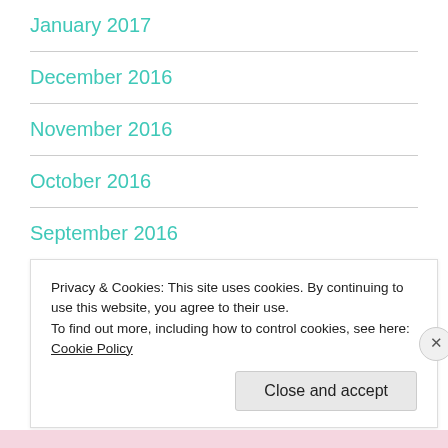January 2017
December 2016
November 2016
October 2016
September 2016
August 2016
Privacy & Cookies: This site uses cookies. By continuing to use this website, you agree to their use.
To find out more, including how to control cookies, see here: Cookie Policy
Close and accept